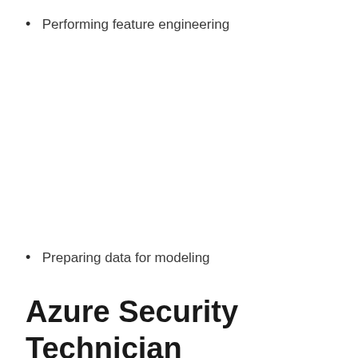Performing feature engineering
Preparing data for modeling
Azure Security Technician